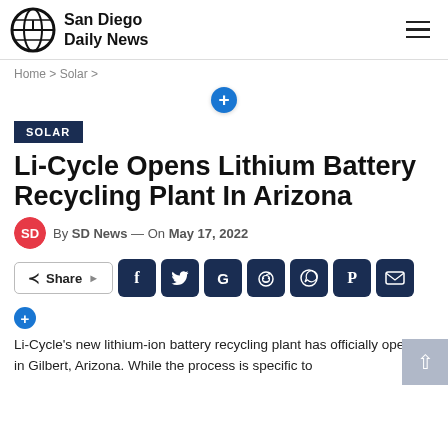San Diego Daily News
Home › Solar ›
[Figure (other): Blue plus/add button circle icon]
SOLAR
Li-Cycle Opens Lithium Battery Recycling Plant In Arizona
By SD News — On May 17, 2022
[Figure (other): Social share buttons: Share, Facebook, Twitter, Google, Reddit, WhatsApp, Pinterest, Email]
[Figure (other): Blue plus/add button circle icon]
Li-Cycle's new lithium-ion battery recycling plant has officially opened in Gilbert, Arizona. While the process is specific to